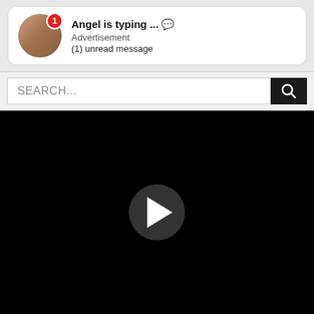[Figure (screenshot): Advertisement notification card showing avatar with badge, title 'Angel is typing ... 💬', subtitle 'Advertisement', and '(1) unread message']
SEARCH...
[Figure (screenshot): Black video player area with a circular play button in the center]